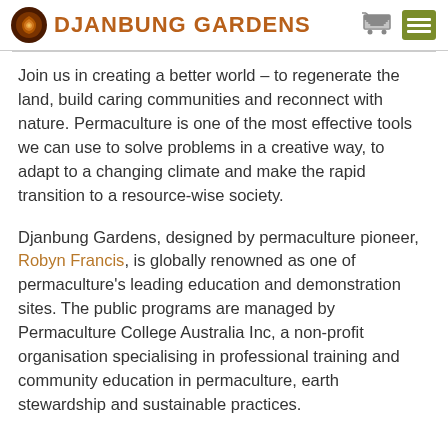DJANBUNG GARDENS
Join us in creating a better world – to regenerate the land, build caring communities and reconnect with nature. Permaculture is one of the most effective tools we can use to solve problems in a creative way, to adapt to a changing climate and make the rapid transition to a resource-wise society.
Djanbung Gardens, designed by permaculture pioneer, Robyn Francis, is globally renowned as one of permaculture's leading education and demonstration sites. The public programs are managed by Permaculture College Australia Inc, a non-profit organisation specialising in professional training and community education in permaculture, earth stewardship and sustainable practices.